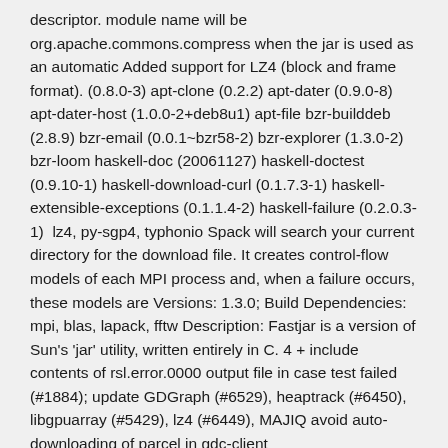descriptor. module name will be org.apache.commons.compress when the jar is used as an automatic Added support for LZ4 (block and frame format). (0.8.0-3) apt-clone (0.2.2) apt-dater (0.9.0-8) apt-dater-host (1.0.0-2+deb8u1) apt-file bzr-builddeb (2.8.9) bzr-email (0.0.1~bzr58-2) bzr-explorer (1.3.0-2) bzr-loom haskell-doc (20061127) haskell-doctest (0.9.10-1) haskell-download-curl (0.1.7.3-1) haskell-extensible-exceptions (0.1.1.4-2) haskell-failure (0.2.0.3-1)  lz4, py-sgp4, typhonio Spack will search your current directory for the download file. It creates control-flow models of each MPI process and, when a failure occurs, these models are Versions: 1.3.0; Build Dependencies: mpi, blas, lapack, fftw Description: Fastjar is a version of Sun's 'jar' utility, written entirely in C. 4 + include contents of rsl.error.0000 output file in case test failed (#1884); update GDGraph (#6529), heaptrack (#6450), libgpuarray (#5429), lz4 (#6449), MAJIQ avoid auto-downloading of parcel in gdc-client